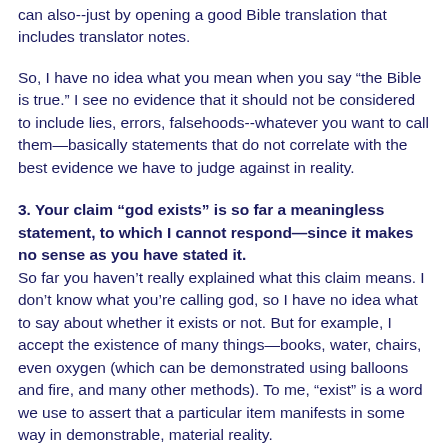can also--just by opening a good Bible translation that includes translator notes.
So, I have no idea what you mean when you say “the Bible is true.” I see no evidence that it should not be considered to include lies, errors, falsehoods--whatever you want to call them—basically statements that do not correlate with the best evidence we have to judge against in reality.
3. Your claim “god exists” is so far a meaningless statement, to which I cannot respond—since it makes no sense as you have stated it.
So far you haven’t really explained what this claim means. I don’t know what you’re calling god, so I have no idea what to say about whether it exists or not. But for example, I accept the existence of many things—books, water, chairs, even oxygen (which can be demonstrated using balloons and fire, and many other methods). To me, “exist” is a word we use to assert that a particular item manifests in some way in demonstrable, material reality.
This is why it’s interesting that you said only that “gremlins